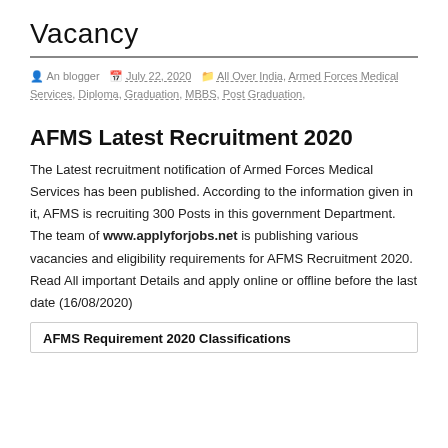Vacancy
An blogger  July 22, 2020  All Over India, Armed Forces Medical Services, Diploma, Graduation, MBBS, Post Graduation,
AFMS Latest Recruitment 2020
The Latest recruitment notification of Armed Forces Medical Services has been published. According to the information given in it, AFMS is recruiting 300 Posts in this government Department.  The team of www.applyforjobs.net is publishing various vacancies and eligibility requirements for AFMS Recruitment 2020. Read All important Details and apply online or offline before the last date (16/08/2020)
AFMS Requirement 2020 Classifications